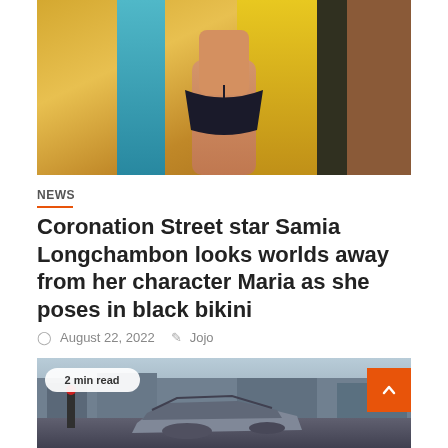[Figure (photo): Cropped photo of a person in a black bikini, standing in front of colorful striped background with gold, blue, and yellow tones.]
NEWS
Coronation Street star Samia Longchambon looks worlds away from her character Maria as she poses in black bikini
August 22, 2022   Jojo
[Figure (photo): Photo of a crashed/wrecked car on a road, showing a heavily damaged vehicle. Badge shows '2 min read'.]